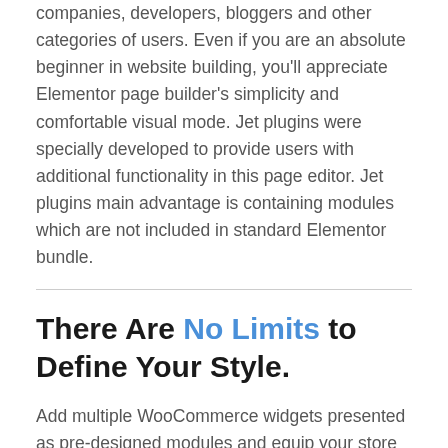companies, developers, bloggers and other categories of users. Even if you are an absolute beginner in website building, you'll appreciate Elementor page builder's simplicity and comfortable visual mode. Jet plugins were specially developed to provide users with additional functionality in this page editor. Jet plugins main advantage is containing modules which are not included in standard Elementor bundle.
There Are No Limits to Define Your Style.
Add multiple WooCommerce widgets presented as pre-designed modules and equip your store with breathtaking widgets and elements, necessary for successful online trading. Your customers will appreciate your site look and definitely recommend it via their social media accounts.